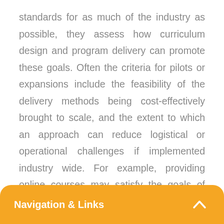standards for as much of the industry as possible, they assess how curriculum design and program delivery can promote these goals. Often the criteria for pilots or expansions include the feasibility of the delivery methods being cost-effectively brought to scale, and the extent to which an approach can reduce logistical or operational challenges if implemented industry wide. For example, providing online courses may satisfy the goals of cost-effectiveness and scalability, but it can be a poor method for mastering certain work situations. On the
Navigation & Links